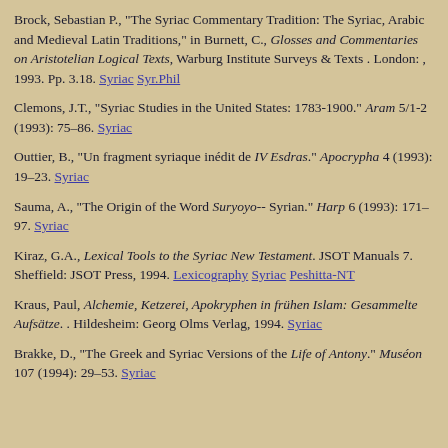Brock, Sebastian P., "The Syriac Commentary Tradition: The Syriac, Arabic and Medieval Latin Traditions," in Burnett, C., Glosses and Commentaries on Aristotelian Logical Texts, Warburg Institute Surveys & Texts . London: , 1993. Pp. 3.18. Syriac Syr.Phil
Clemons, J.T., "Syriac Studies in the United States: 1783-1900." Aram 5/1-2 (1993): 75–86. Syriac
Outtier, B., "Un fragment syriaque inédit de IV Esdras." Apocrypha 4 (1993): 19–23. Syriac
Sauma, A., "The Origin of the Word Suryoyo-- Syrian." Harp 6 (1993): 171–97. Syriac
Kiraz, G.A., Lexical Tools to the Syriac New Testament. JSOT Manuals 7. Sheffield: JSOT Press, 1994. Lexicography Syriac Peshitta-NT
Kraus, Paul, Alchemie, Ketzerei, Apokryphen in frühen Islam: Gesammelte Aufsätze. . Hildesheim: Georg Olms Verlag, 1994. Syriac
Brakke, D., "The Greek and Syriac Versions of the Life of Antony." Muséon 107 (1994): 29–53. Syriac